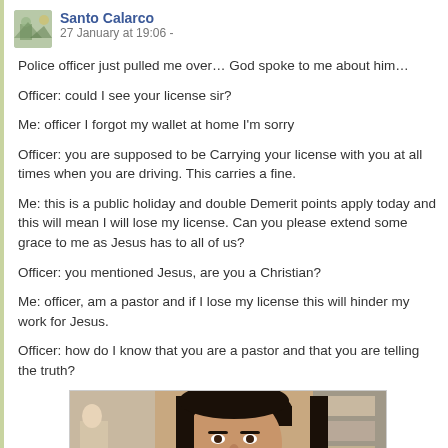Santo Calarco
27 January at 19:06 -
Police officer just pulled me over… God spoke to me about him…
Officer: could I see your license sir?
Me: officer I forgot my wallet at home I'm sorry
Officer: you are supposed to be Carrying your license with you at all times when you are driving. This carries a fine.
Me: this is a public holiday and double Demerit points apply today and this will mean I will lose my license. Can you please extend some grace to me as Jesus has to all of us?
Officer: you mentioned Jesus, are you a Christian?
Me: officer, am a pastor and if I lose my license this will hinder my work for Jesus.
Officer: how do I know that you are a pastor and that you are telling the truth?
[Figure (photo): A photo of a person (man with dark hair), indoor setting with shelves/store visible in background.]